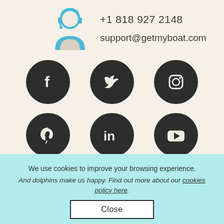+1 818 927 2148
support@getmyboat.com
[Figure (illustration): Customer support agent icon in blue, 6 social media icons in dark circles: Facebook, Twitter, Instagram, Pinterest, LinkedIn, YouTube]
We use cookies to improve your browsing experience.
And dolphins make us happy. Find out more about our cookies policy here.